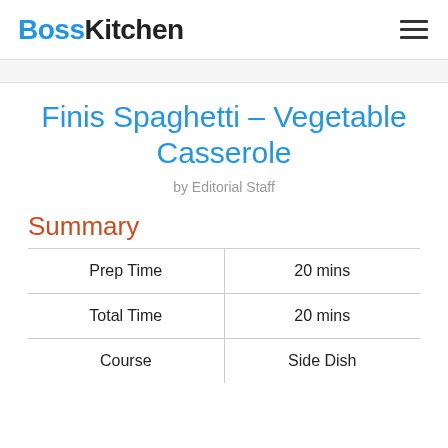BossKitchen
Finis Spaghetti – Vegetable Casserole
by Editorial Staff
Summary
| Prep Time | 20 mins |
| Total Time | 20 mins |
| Course | Side Dish |